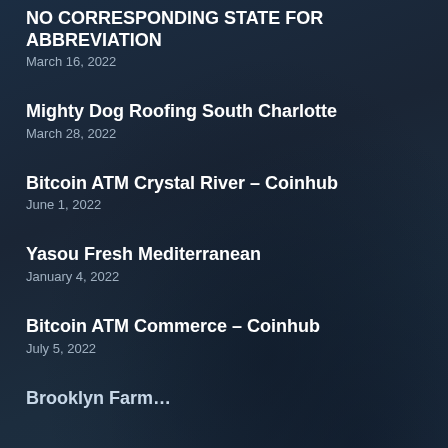NO CORRESPONDING STATE FOR ABBREVIATION
March 16, 2022
Mighty Dog Roofing South Charlotte
March 28, 2022
Bitcoin ATM Crystal River – Coinhub
June 1, 2022
Yasou Fresh Mediterranean
January 4, 2022
Bitcoin ATM Commerce – Coinhub
July 5, 2022
Brooklyn Farm…